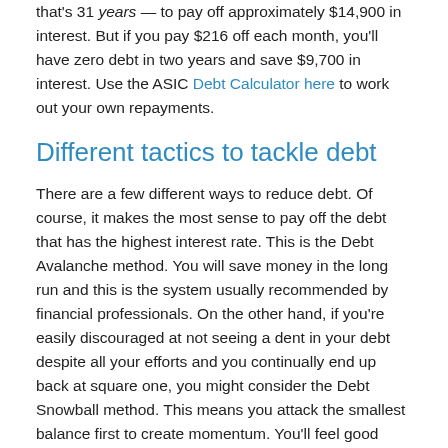that's 31 years — to pay off approximately $14,900 in interest. But if you pay $216 off each month, you'll have zero debt in two years and save $9,700 in interest. Use the ASIC Debt Calculator here to work out your own repayments.
Different tactics to tackle debt
There are a few different ways to reduce debt. Of course, it makes the most sense to pay off the debt that has the highest interest rate. This is the Debt Avalanche method. You will save money in the long run and this is the system usually recommended by financial professionals. On the other hand, if you're easily discouraged at not seeing a dent in your debt despite all your efforts and you continually end up back at square one, you might consider the Debt Snowball method. This means you attack the smallest balance first to create momentum. You'll feel good about seeing your hard work pay off and it will (hopefully) encourage you to keep going. Read more about the two methods here